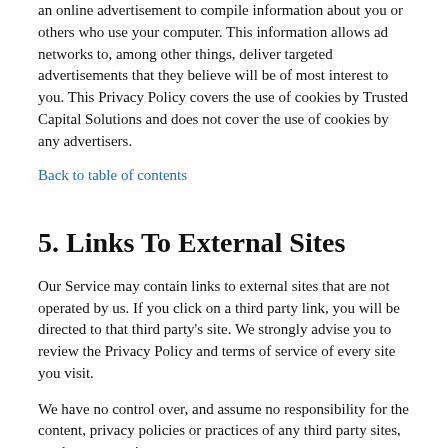an online advertisement to compile information about you or others who use your computer. This information allows ad networks to, among other things, deliver targeted advertisements that they believe will be of most interest to you. This Privacy Policy covers the use of cookies by Trusted Capital Solutions and does not cover the use of cookies by any advertisers.
Back to table of contents
5. Links To External Sites
Our Service may contain links to external sites that are not operated by us. If you click on a third party link, you will be directed to that third party's site. We strongly advise you to review the Privacy Policy and terms of service of every site you visit.
We have no control over, and assume no responsibility for the content, privacy policies or practices of any third party sites, products or services.